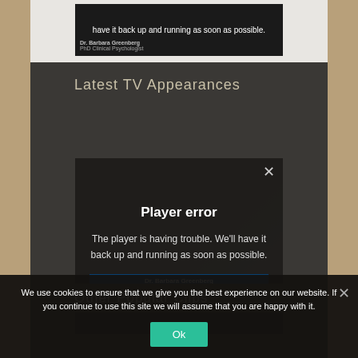[Figure (screenshot): Top video thumbnail showing dark video frame with white text 'have it back up and running as soon as possible.' and 'Dr. Barbara Greenberg / PhD Clinical Psychologist' text overlay]
Latest TV Appearances
[Figure (screenshot): Video player with error overlay. Error message reads: 'Player error — The player is having trouble. We'll have it back up and running as soon as possible.' with Dr. Barbara Greenberg name bar at bottom and X close button]
Other Popular Clips
We use cookies to ensure that we give you the best experience on our website. If you continue to use this site we will assume that you are happy with it.
Ok